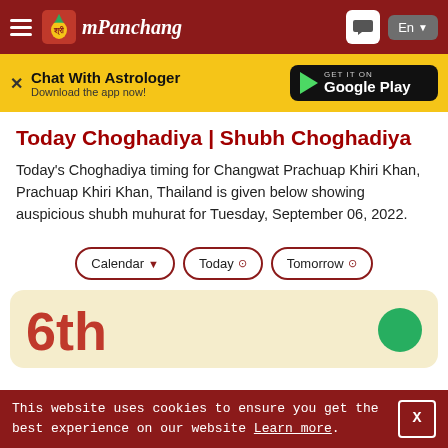mPanchang
Chat With Astrologer
Download the app now!
Today Choghadiya | Shubh Choghadiya
Today's Choghadiya timing for Changwat Prachuap Khiri Khan, Prachuap Khiri Khan, Thailand is given below showing auspicious shubh muhurat for Tuesday, September 06, 2022.
Calendar
Today
Tomorrow
[Figure (other): Calendar date card showing 6th with a green circle]
This website uses cookies to ensure you get the best experience on our website Learn more.